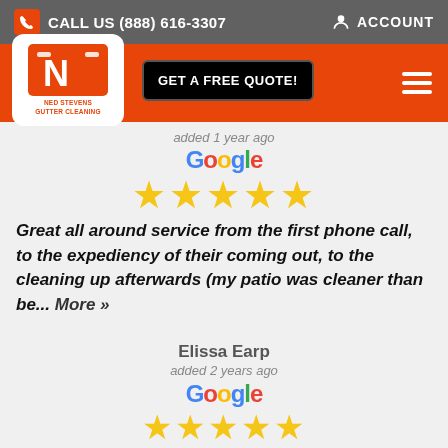CALL US (888) 616-3307   ACCOUNT
[Figure (logo): Ned Stevens Gutter Cleaning logo with orange N on white rounded square background, and GET A FREE QUOTE! button and hamburger menu]
added 1 year ago
[Figure (logo): Google logo in multicolor text]
★★★★★ (5 stars)
Great all around service from the first phone call, to the expediency of their coming out, to the cleaning up afterwards (my patio was cleaner than be... More »
Elissa Earp
added 2 years ago
[Figure (logo): Google logo in multicolor text]
★★★★★ (5 stars, partially visible)